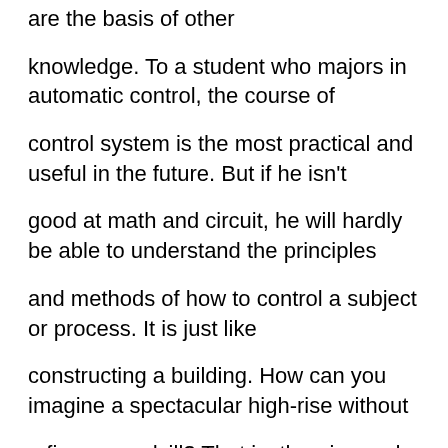are the basis of other knowledge. To a student who majors in automatic control, the course of control system is the most practical and useful in the future. But if he isn't good at math and circuit, he will hardly be able to understand the principles and methods of how to control a subject or process. It is just like constructing a building. How can you imagine a spectacular high-rise without a firm groundsill? That is, theories and practices are interrelated. We can ignore neither of them. Second, theoretical basic knowledge provides not only the knowledge itself.